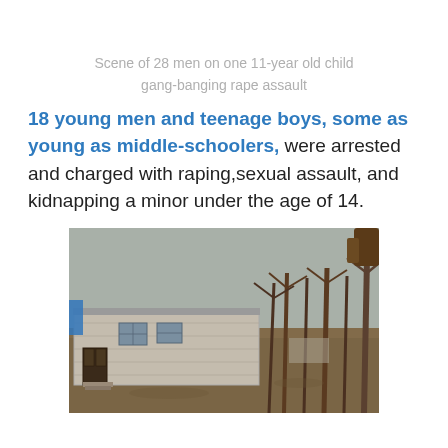Scene of 28 men on one 11-year old child gang-banging rape assault
18 young men and teenage boys, some as young as middle-schoolers, were arrested and charged with raping,sexual assault, and kidnapping a minor under the age of 14.
[Figure (photo): Exterior photo of a run-down single-story wooden building/trailer with bare trees in the background and dead leaves on the ground.]